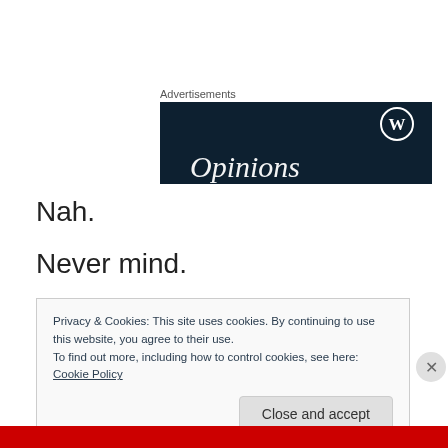Advertisements
[Figure (screenshot): Dark navy blue advertisement banner with WordPress logo (circle W) in upper right and large italic text 'Opinions' at the bottom left in white]
Nah.
Never mind.
Privacy & Cookies: This site uses cookies. By continuing to use this website, you agree to their use.
To find out more, including how to control cookies, see here: Cookie Policy
Close and accept